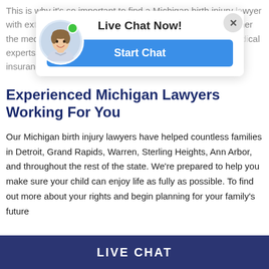This is why it's so important to find a Michigan birth injury lawyer with extensive capabilities. The right firm knows how to gather the medical evidence you need, make connections with medical experts, and understand how to negotiate with malpractice insurance carriers.
[Figure (screenshot): Live Chat overlay with avatar photo of a smiling young man, green online indicator dot, 'Live Chat Now!' title text, 'Start Chat' blue button, and an X close button]
Experienced Michigan Lawyers Working For You
Our Michigan birth injury lawyers have helped countless families in Detroit, Grand Rapids, Warren, Sterling Heights, Ann Arbor, and throughout the rest of the state. We're prepared to help you make sure your child can enjoy life as fully as possible. To find out more about your rights and begin planning for your family's future
LIVE CHAT